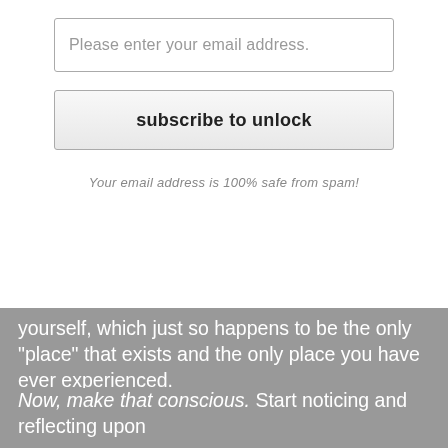Please enter your email address.
subscribe to unlock
Your email address is 100% safe from spam!
yourself, which just so happens to be the only "place" that exists and the only place you have ever experienced.
Now, make that conscious. Start noticing and reflecting upon Awareness itself. Notice that, although Awareness does not have a feeling of its own—it is not limited to a feeling of its own—the formlessness, the essence of Awareness itself, tends to release certain types of qualities or feelings into the perceptive experience of yourself, into your sense of I-AM.
Some of these qualities are: ease, restfulness, relaxation, relief from your previous mental assumptions, a general